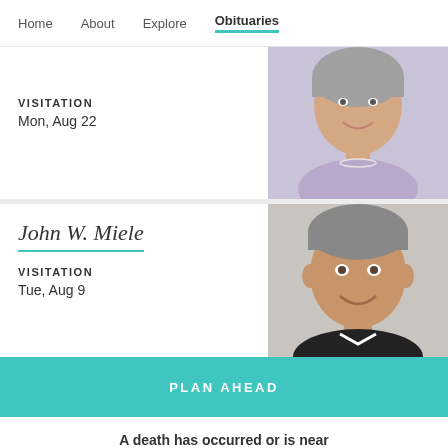Home  About  Explore  Obituaries
VISITATION
Mon, Aug 22
[Figure (photo): Elderly woman with gray hair, wearing a lavender outfit and pearl necklace, smiling.]
John W. Miele
VISITATION
Tue, Aug 9
[Figure (photo): Older man with gray hair, wearing a black shirt, smiling.]
PLAN AHEAD
A death has occurred or is near